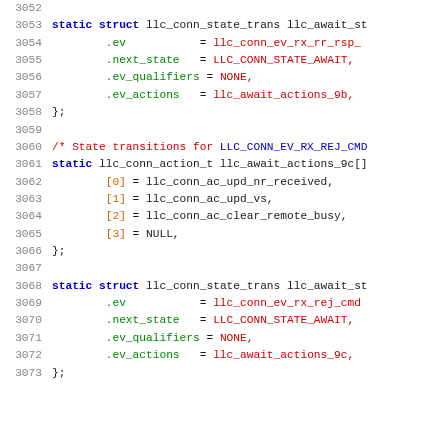3052 (blank line)
3053   static struct llc_conn_state_trans llc_await_st
3054           .ev           = llc_conn_ev_rx_rr_rsp_
3055           .next_state   = LLC_CONN_STATE_AWAIT,
3056           .ev_qualifiers = NONE,
3057           .ev_actions   = llc_await_actions_9b,
3058   };
3059 (blank line)
3060   /* State transitions for LLC_CONN_EV_RX_REJ_CMD
3061   static llc_conn_action_t llc_await_actions_9c[]
3062           [0] = llc_conn_ac_upd_nr_received,
3063           [1] = llc_conn_ac_upd_vs,
3064           [2] = llc_conn_ac_clear_remote_busy,
3065           [3] = NULL,
3066   };
3067 (blank line)
3068   static struct llc_conn_state_trans llc_await_st
3069           .ev           = llc_conn_ev_rx_rej_cmd
3070           .next_state   = LLC_CONN_STATE_AWAIT,
3071           .ev_qualifiers = NONE,
3072           .ev_actions   = llc_await_actions_9c,
3073   };